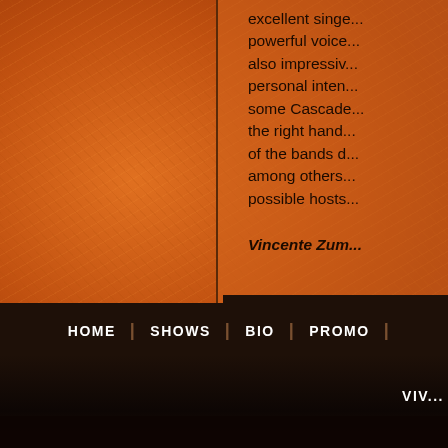excellent singe... powerful voice... also impressiv... personal inten... some Cascade... the right hand... of the bands d... among others... possible hosts...
Vincente Zum...
HOME | SHOWS | BIO | PROMO |
VIV...